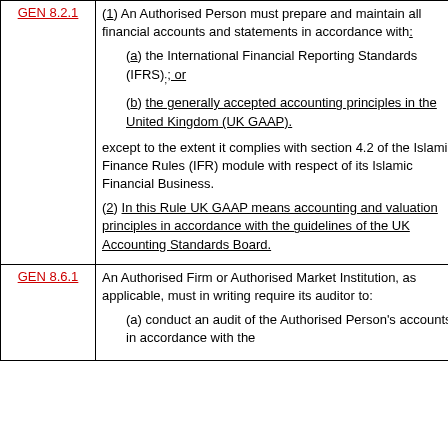| Reference | Content |
| --- | --- |
| GEN 8.2.1 | (1) An Authorised Person must prepare and maintain all financial accounts and statements in accordance with:
(a) the International Financial Reporting Standards (IFRS); or
(b) the generally accepted accounting principles in the United Kingdom (UK GAAP).
except to the extent it complies with section 4.2 of the Islamic Finance Rules (IFR) module with respect of its Islamic Financial Business.
(2) In this Rule UK GAAP means accounting and valuation principles in accordance with the guidelines of the UK Accounting Standards Board. |
| GEN 8.6.1 | An Authorised Firm or Authorised Market Institution, as applicable, must in writing require its auditor to:
(a) conduct an audit of the Authorised Person's accounts in accordance with the |